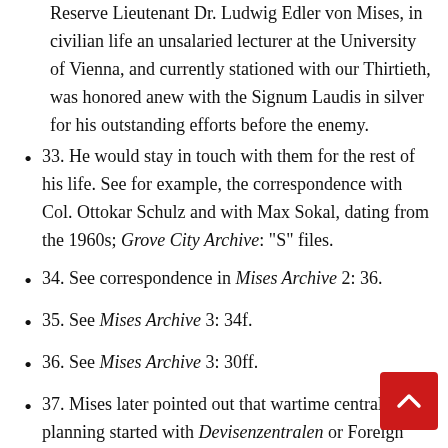Reserve Lieutenant Dr. Ludwig Edler von Mises, in civilian life an unsalaried lecturer at the University of Vienna, and currently stationed with our Thirtieth, was honored anew with the Signum Laudis in silver for his outstanding efforts before the enemy.
33. He would stay in touch with them for the rest of his life. See for example, the correspondence with Col. Ottokar Schulz and with Max Sokal, dating from the 1960s; Grove City Archive: "S" files.
34. See correspondence in Mises Archive 2: 36.
35. See Mises Archive 3: 34f.
36. See Mises Archive 3: 30ff.
37. Mises later pointed out that wartime central planning started with Devisenzentralen or Foreign Exchange Centrals. See Mises, "Au Empire. Finance and Banking." Encyclopedia